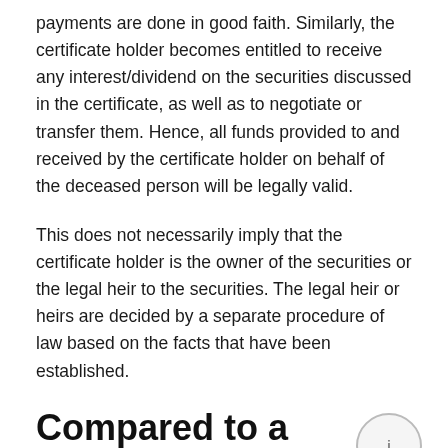payments are done in good faith. Similarly, the certificate holder becomes entitled to receive any interest/dividend on the securities discussed in the certificate, as well as to negotiate or transfer them. Hence, all funds provided to and received by the certificate holder on behalf of the deceased person will be legally valid.
This does not necessarily imply that the certificate holder is the owner of the securities or the legal heir to the securities. The legal heir or heirs are decided by a separate procedure of law based on the facts that have been established.
Compared to a Succession Certificate, a Legal Heirship Certificate
A succession certificate provides that the...